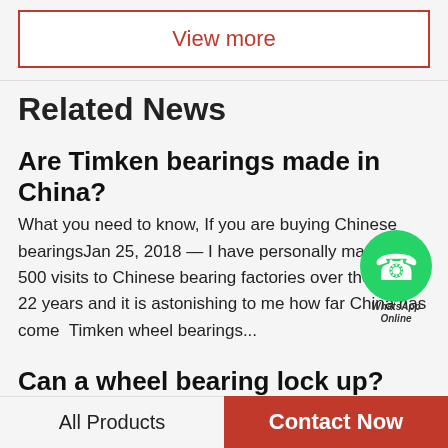View more
Related News
Are Timken bearings made in China?
What you need to know, If you are buying Chinese bearingsJan 25, 2018 — I have personally made over 500 visits to Chinese bearing factories over the past 22 years and it is astonishing to me how far China has come  Timken wheel bearings...
Can a wheel bearing lock up?
Is it dangerous to drive with a bad wheel bearing? -
[Figure (logo): WhatsApp Online green circle chat bubble with phone icon and text WhatsApp Online]
All Products    Contact Now